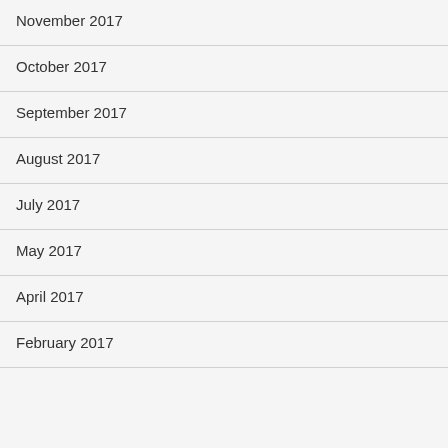November 2017
October 2017
September 2017
August 2017
July 2017
May 2017
April 2017
February 2017